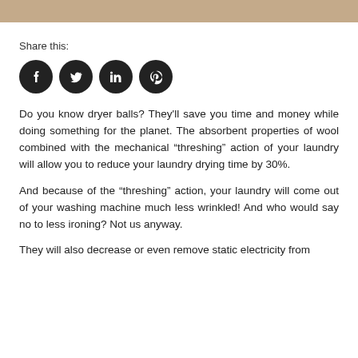[Figure (other): Tan/beige decorative header bar]
Share this:
[Figure (other): Four social media share icons: Facebook, Twitter, LinkedIn, Pinterest — dark circular buttons]
Do you know dryer balls? They'll save you time and money while doing something for the planet. The absorbent properties of wool combined with the mechanical “threshing” action of your laundry will allow you to reduce your laundry drying time by 30%.
And because of the “threshing” action, your laundry will come out of your washing machine much less wrinkled! And who would say no to less ironing? Not us anyway.
They will also decrease or even remove static electricity from your clothing. The what? But if you know that your laundry comes out...